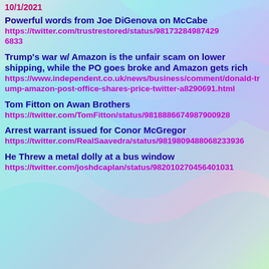10/1/2021
Powerful words from Joe DiGenova on McCabe
https://twitter.com/trustrestored/status/981732849874296833
Trump's war w/ Amazon is the unfair scam on lower shipping, while the PO goes broke and Amazon gets rich
https://www.independent.co.uk/news/business/comment/donald-trump-amazon-post-office-shares-price-twitter-a8290691.html
Tom Fitton on Awan Brothers
https://twitter.com/TomFitton/status/981888667498790092 8
Arrest warrant issued for Conor McGregor
https://twitter.com/RealSaavedra/status/981980948806823936
He Threw a metal dolly at a bus window
https://twitter.com/joshdcaplan/status/982010270456401 031